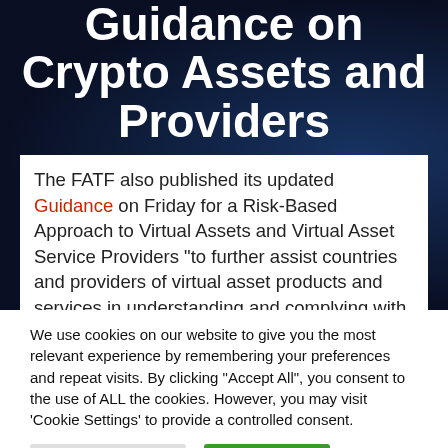Guidance on Crypto Assets and Providers
The FATF also published its updated Guidance on Friday for a Risk-Based Approach to Virtual Assets and Virtual Asset Service Providers "to further assist countries and providers of virtual asset products and services in understanding and complying with their AML/CFT obligations." This guidance builds upon its 2015
We use cookies on our website to give you the most relevant experience by remembering your preferences and repeat visits. By clicking "Accept All", you consent to the use of ALL the cookies. However, you may visit 'Cookie Settings' to provide a controlled consent.